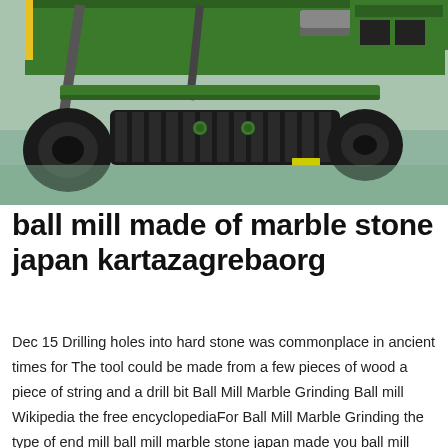[Figure (photo): Close-up photograph of a large green tracked industrial machine (likely a drilling or grinding rig) with rubber tracks, resting on a smooth polished floor inside a facility. The undercarriage shows large black rubber track assembly with green metal frame components and mechanical linkages.]
ball mill made of marble stone japan kartazagrebaorg
Dec 15 Drilling holes into hard stone was commonplace in ancient times for The tool could be made from a few pieces of wood a piece of string and a drill bit Ball Mill Marble Grinding Ball mill Wikipedia the free encyclopediaFor Ball Mill Marble Grinding the type of end mill ball mill marble stone japan made you ball mill marble stone japan made Description Media